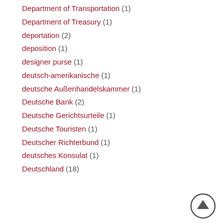Department of Transportation (1)
Department of Treasury (1)
deportation (2)
deposition (1)
designer purse (1)
deutsch-amerikanische (1)
deutsche Außenhandelskammer (1)
Deutsche Bank (2)
Deutsche Gerichtsurteile (1)
Deutsche Touristen (1)
Deutscher Richterbund (1)
deutsches Konsulat (1)
Deutschland (18)